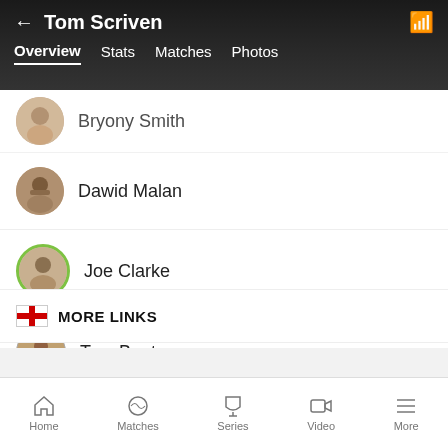Tom Scriven — Overview | Stats | Matches | Photos
Bryony Smith
Dawid Malan
Joe Clarke
Tom Banton
George Scrimshaw
Matthew Hurst
MORE LINKS
Home | Matches | Series | Video | More